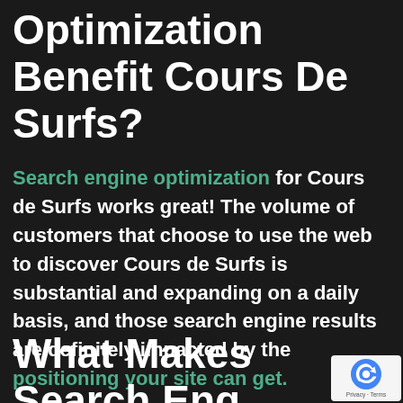Optimization Benefit Cours De Surfs?
Search engine optimization for Cours de Surfs works great! The volume of customers that choose to use the web to discover Cours de Surfs is substantial and expanding on a daily basis, and those search engine results are definitely impacted by the positioning your site can get.
What Makes Search Engine Optimization Critical For